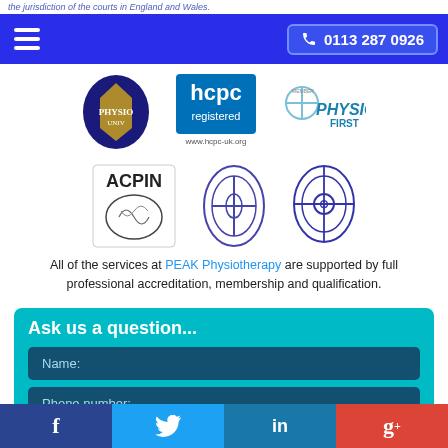the jurisdiction of the courts in England and Wales.
0113 287 0926
[Figure (logo): University crest logo (gold shield on dark background)]
[Figure (logo): HCPC registered logo with www.hcpc-uk.org]
[Figure (logo): Physio First member logo]
[Figure (logo): ACPIN logo with brain graphic]
[Figure (logo): Oval shaped physiotherapy association logo]
[Figure (logo): Chartered Society of Physiotherapy logo]
All of the services at PEAK Physiotherapy are supported by full professional accreditation, membership and qualification.
Ask us a question...
Name:
Phone number: